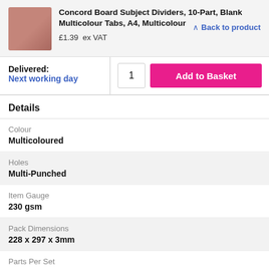Concord Board Subject Dividers, 10-Part, Blank Multicolour Tabs, A4, Multicolour
£1.39  ex VAT
Back to product
Delivered:
Next working day
1
Add to Basket
Details
Colour
Multicoloured
Holes
Multi-Punched
Item Gauge
230 gsm
Pack Dimensions
228 x 297 x 3mm
Parts Per Set